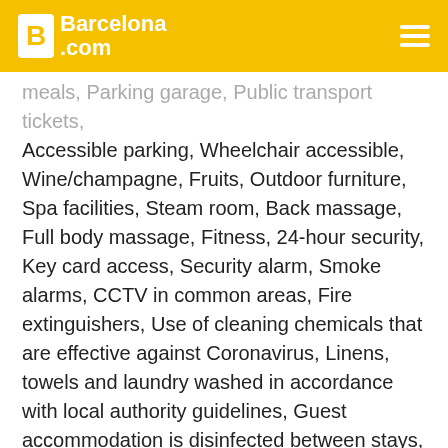Barcelona.com
meals, Parking garage, Public transport tickets, Accessible parking, Wheelchair accessible, Wine/champagne, Fruits, Outdoor furniture, Spa facilities, Steam room, Back massage, Full body massage, Fitness, 24-hour security, Key card access, Security alarm, Smoke alarms, CCTV in common areas, Fire extinguishers, Use of cleaning chemicals that are effective against Coronavirus, Linens, towels and laundry washed in accordance with local authority guidelines, Guest accommodation is disinfected between stays, Guest accommodation sealed after cleaning, Physical distancing in dining areas, Food can be delivered to guest accommodation, Staff follow all safety protocols as directed by local authorities, Shared stationery such as printed menus, magazines, pens, and paper removed, Hand sanitizer in guest